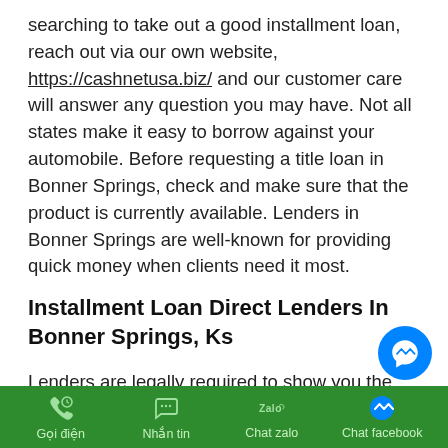searching to take out a good installment loan, reach out via our own website, https://cashnetusa.biz/ and our customer care will answer any question you may have. Not all states make it easy to borrow against your automobile. Before requesting a title loan in Bonner Springs, check and make sure that the product is currently available. Lenders in Bonner Springs are well-known for providing quick money when clients need it most.
Installment Loan Direct Lenders In Bonner Springs, Ks
Lenders are legally required to show you the APR and other terms of your loan before you execute a loan agreement. By Bonner Springs, government pa…
Gọi điện | Nhắn tin | Chat zalo | Chat facebook